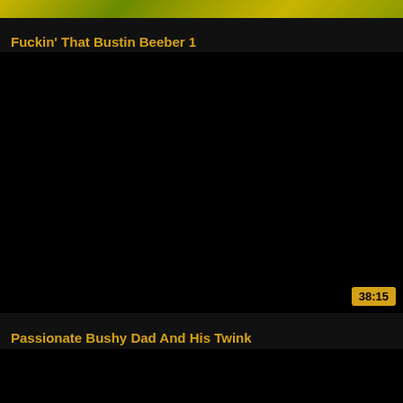[Figure (screenshot): Thumbnail image with golden/green foliage pattern at top of first video card]
Fuckin' That Bustin Beeber 1
[Figure (screenshot): Black thumbnail image for second video card with duration badge showing 38:15]
Passionate Bushy Dad And His Twink
[Figure (screenshot): Black thumbnail image partially visible for third video card at bottom]